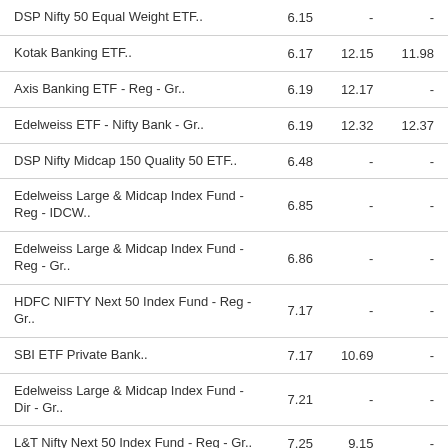| Fund Name | Col1 | Col2 | Col3 |
| --- | --- | --- | --- |
| DSP Nifty 50 Equal Weight ETF.. | 6.15 | - | - |
| Kotak Banking ETF.. | 6.17 | 12.15 | 11.98 |
| Axis Banking ETF - Reg - Gr.. | 6.19 | 12.17 | - |
| Edelweiss ETF - Nifty Bank - Gr.. | 6.19 | 12.32 | 12.37 |
| DSP Nifty Midcap 150 Quality 50 ETF.. | 6.48 | - | - |
| Edelweiss Large & Midcap Index Fund - Reg - IDCW.. | 6.85 | - | - |
| Edelweiss Large & Midcap Index Fund - Reg - Gr.. | 6.86 | - | - |
| HDFC NIFTY Next 50 Index Fund - Reg - Gr.. | 7.17 | - | - |
| SBI ETF Private Bank.. | 7.17 | 10.69 | - |
| Edelweiss Large & Midcap Index Fund - Dir - Gr.. | 7.21 | - | - |
| L&T Nifty Next 50 Index Fund - Reg - Gr.. | 7.25 | 9.15 | - |
| Kotak Midcap 50 ETF.. | 7.27 | - | - |
| Motilal Oswal Nifty Next 50 Index Fund - Reg - Gr.. | 7.33 | 9.18 | - |